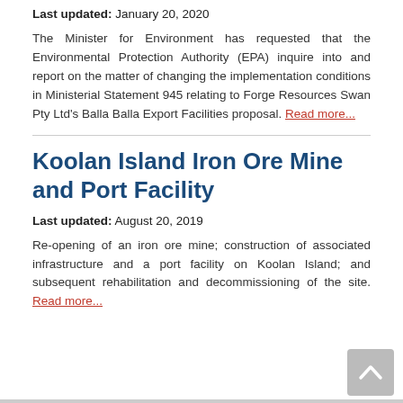Last updated: January 20, 2020
The Minister for Environment has requested that the Environmental Protection Authority (EPA) inquire into and report on the matter of changing the implementation conditions in Ministerial Statement 945 relating to Forge Resources Swan Pty Ltd's Balla Balla Export Facilities proposal. Read more...
Koolan Island Iron Ore Mine and Port Facility
Last updated: August 20, 2019
Re-opening of an iron ore mine; construction of associated infrastructure and a port facility on Koolan Island; and subsequent rehabilitation and decommissioning of the site. Read more...